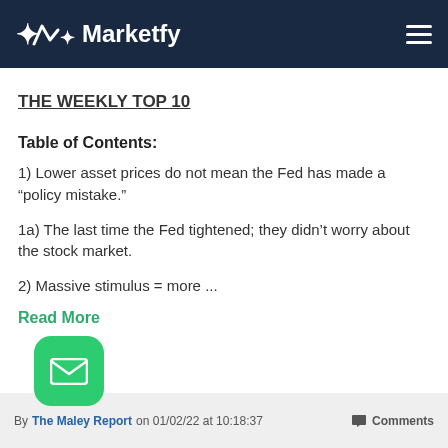Marketfy
THE WEEKLY TOP 10
Table of Contents:
1) Lower asset prices do not mean the Fed has made a “policy mistake.”
1a) The last time the Fed tightened; they didn’t worry about the stock market.
2) Massive stimulus = more ...
Read More
By The Maley Report on 01/02/22 at 10:18:37   Comments